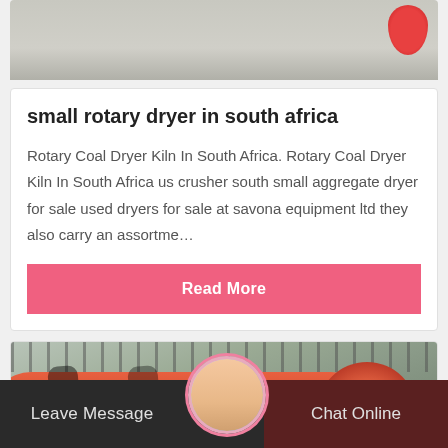[Figure (photo): Partial top image showing background with red object, cropped at top of page]
small rotary dryer in south africa
Rotary Coal Dryer Kiln In South Africa. Rotary Coal Dryer Kiln In South Africa us crusher south small aggregate dryer for sale used dryers for sale at savona equipment ltd they also carry an assortme…
Read More
[Figure (photo): Photo of a large orange/red rotary dryer drum outdoors, with metal fence in background, industrial equipment on concrete ground]
Leave Message
Chat Online